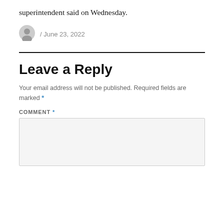superintendent said on Wednesday.
/ June 23, 2022
Leave a Reply
Your email address will not be published. Required fields are marked *
COMMENT *